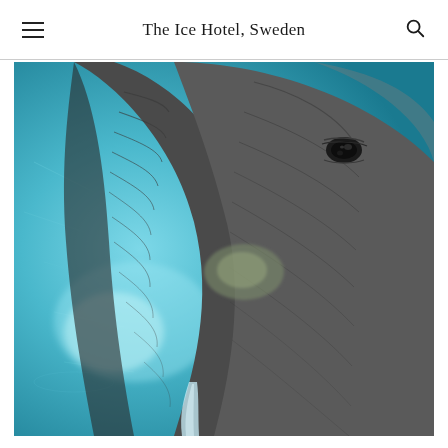The Ice Hotel, Sweden
[Figure (photo): Close-up photograph of an ice sculpture of an elephant head at The Ice Hotel in Sweden, with cyan/turquoise blue icy background and detailed textured grey ice forming the elephant's trunk, eye, and face.]